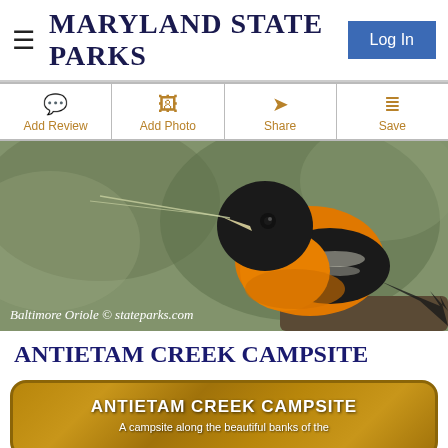MARYLAND STATE PARKS
Log In
Add Review
Add Photo
Share
Save
[Figure (photo): A Baltimore Oriole bird with orange and black plumage holding a twig in its beak, with a blurred green background. Caption reads: Baltimore Oriole © stateparks.com]
ANTIETAM CREEK CAMPSITE
ANTIETAM CREEK CAMPSITE